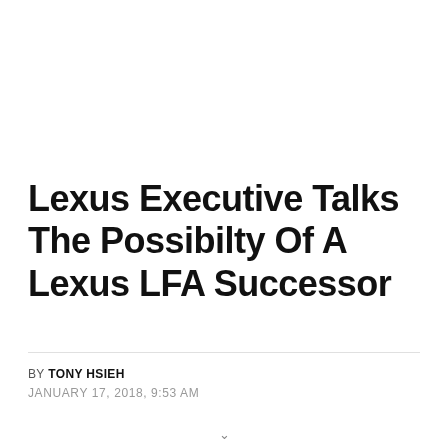Lexus Executive Talks The Possibilty Of A Lexus LFA Successor
BY TONY HSIEH
JANUARY 17, 2018, 9:53 AM